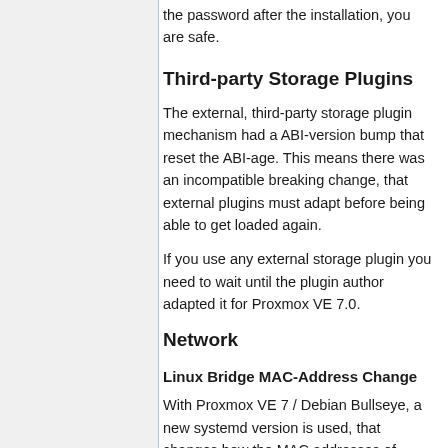the password after the installation, you are safe.
Third-party Storage Plugins
The external, third-party storage plugin mechanism had a ABI-version bump that reset the ABI-age. This means there was an incompatible breaking change, that external plugins must adapt before being able to get loaded again.
If you use any external storage plugin you need to wait until the plugin author adapted it for Proxmox VE 7.0.
Network
Linux Bridge MAC-Address Change
With Proxmox VE 7 / Debian Bullseye, a new systemd version is used, that changes how the MAC addresses of